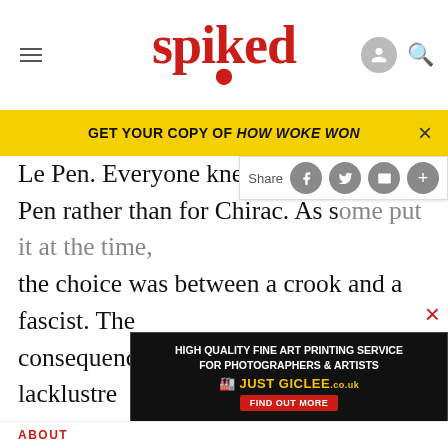spiked
GET YOUR COPY OF HOW WOKE WON
Le Pen. Everyone knew that thi... Pen rather than for Chirac. As some put it at the time, the choice was between a crook and a fascist. The consequence of this was an incredibly lacklustre presidency (8). When Chirac's prime minister, Dominique de Villepin, tried in the spring of 2006 to face down student demonstrations over a proposed change in French labour laws, he did so with very little authority behind him. It was his individual will against that of the students, and the 43 men...
ABOUT